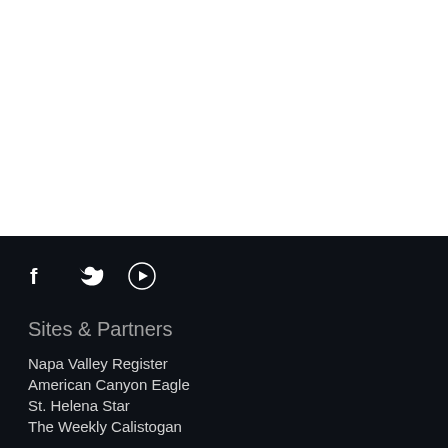[Figure (other): White empty top section of webpage]
Sites & Partners
Napa Valley Register
American Canyon Eagle
St. Helena Star
The Weekly Calistogan